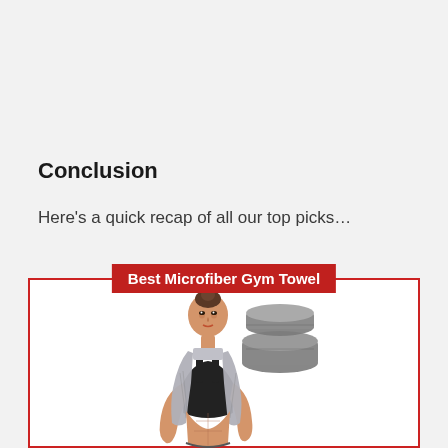Conclusion
Here's a quick recap of all our top picks…
[Figure (illustration): A product card with red border titled 'Best Microfiber Gym Towel' showing a fitness woman wearing a gray towel around her neck and a folded gray microfiber towel beside her]